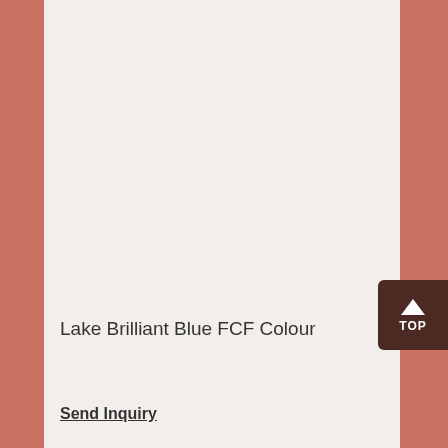Lake Brilliant Blue FCF Colour
Send Inquiry